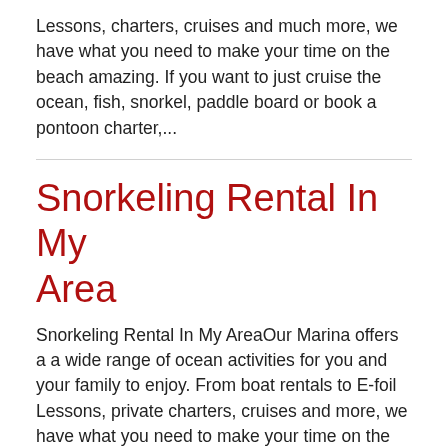Lessons, charters, cruises and much more, we have what you need to make your time on the beach amazing. If you want to just cruise the ocean, fish, snorkel, paddle board or book a pontoon charter,...
Snorkeling Rental In My Area
Snorkeling Rental In My AreaOur Marina offers a a wide range of ocean activities for you and your family to enjoy. From boat rentals to E-foil Lessons, private charters, cruises and more, we have what you need to make your time on the beach an absolute blast. Whether you want to just cruise the ocean, fish, snorkel, paddle board or book a…
Snorkeling Rentals Near Me